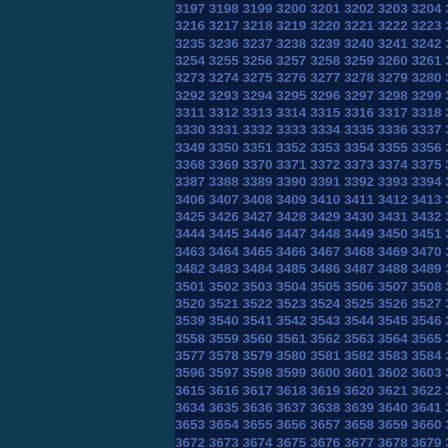Grid of sequential numbers from 3197 to approximately 3805, arranged in rows of 9 numbers each, displayed on dark background